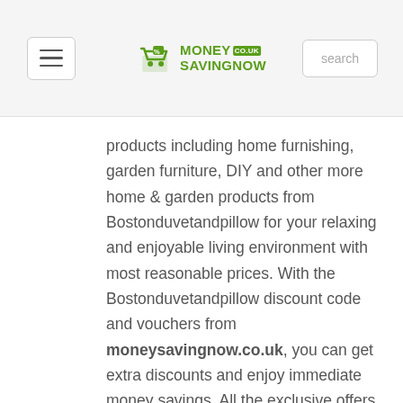MoneySavingNow
products including home furnishing, garden furniture, DIY and other more home & garden products from Bostonduvetandpillow for your relaxing and enjoyable living environment with most reasonable prices. With the Bostonduvetandpillow discount code and vouchers from moneysavingnow.co.uk, you can get extra discounts and enjoy immediate money savings. All the exclusive offers for Bostonduvetandpilloware the 100% valid and working with daily update and check guaranteed by monesavingnow.